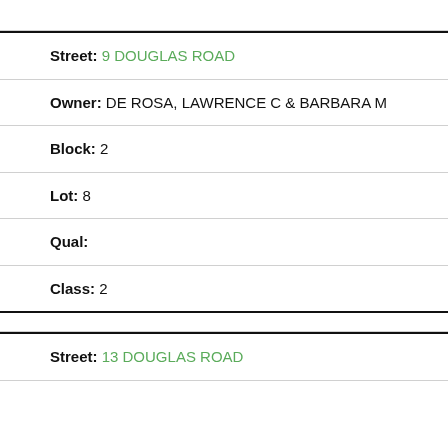Street: 9 DOUGLAS ROAD
Owner: DE ROSA, LAWRENCE C & BARBARA M
Block: 2
Lot: 8
Qual:
Class: 2
Street: 13 DOUGLAS ROAD